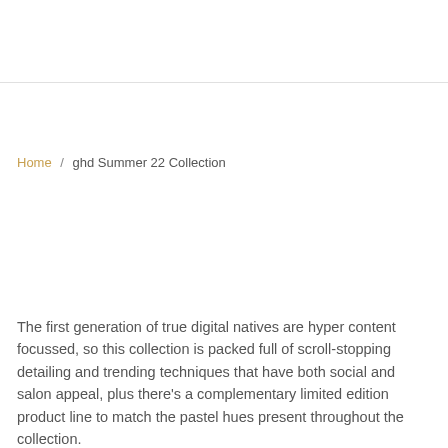Home / ghd Summer 22 Collection
The first generation of true digital natives are hyper content focussed, so this collection is packed full of scroll-stopping detailing and trending techniques that have both social and salon appeal, plus there's a complementary limited edition product line to match the pastel hues present throughout the collection.